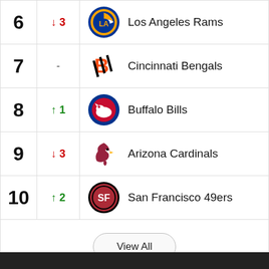| Rank | Change | Team |
| --- | --- | --- |
| 6 | ↓ 3 | Los Angeles Rams |
| 7 | - | Cincinnati Bengals |
| 8 | ↑ 1 | Buffalo Bills |
| 9 | ↓ 3 | Arizona Cardinals |
| 10 | ↑ 2 | San Francisco 49ers |
View All